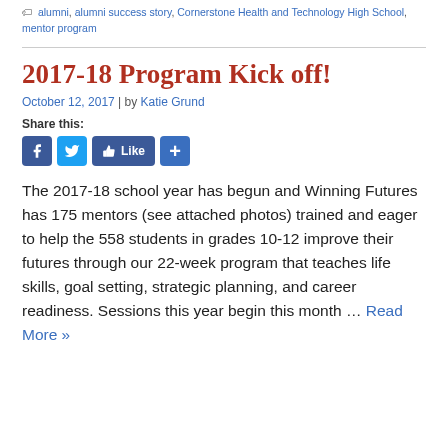alumni, alumni success story, Cornerstone Health and Technology High School, mentor program
2017-18 Program Kick off!
October 12, 2017 | by Katie Grund
Share this:
[Figure (other): Social share buttons: Facebook, Twitter, Like, and a plus button]
The 2017-18 school year has begun and Winning Futures has 175 mentors (see attached photos) trained and eager to help the 558 students in grades 10-12 improve their futures through our 22-week program that teaches life skills, goal setting, strategic planning, and career readiness. Sessions this year begin this month ... Read More »